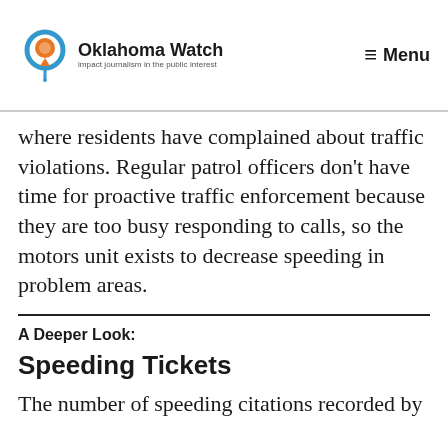Oklahoma Watch — Menu
where residents have complained about traffic violations. Regular patrol officers don't have time for proactive traffic enforcement because they are too busy responding to calls, so the motors unit exists to decrease speeding in problem areas.
A Deeper Look:
Speeding Tickets
The number of speeding citations recorded by